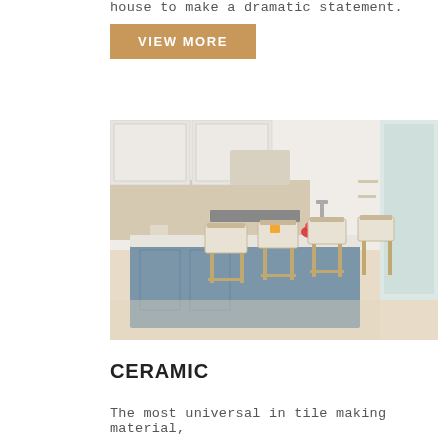house to make a dramatic statement.
VIEW MORE
[Figure (photo): Modern kitchen with a blue island, white upholstered bar stools, white cabinetry, and a vase of red flowers on the counter.]
CERAMIC
The most universal in tile making material,